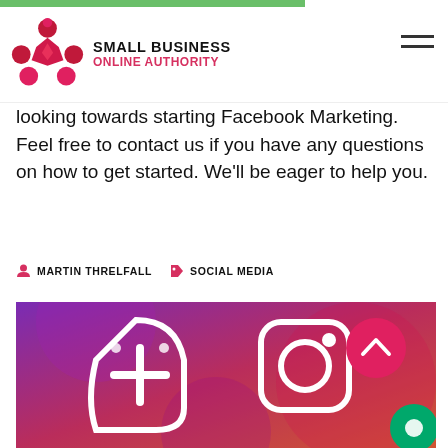SMALL BUSINESS ONLINE AUTHORITY
looking towards starting Facebook Marketing. Feel free to contact us if you have any questions on how to get started. We'll be eager to help you.
MARTIN THRELFALL   SOCIAL MEDIA
[Figure (illustration): Instagram app icon illustration on a purple-pink gradient background with dark navy border, showing Instagram camera icon and a plus/share icon in white outline style, with a red scroll-to-top button and green chat button overlay]